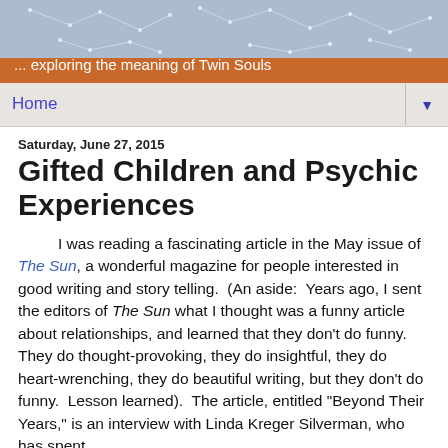[Figure (illustration): Blue-grey banner with constellation dot-and-line star map pattern]
Gemini Souls
... exploring the meaning of Twin Souls
Home ▼
Saturday, June 27, 2015
Gifted Children and Psychic Experiences
I was reading a fascinating article in the May issue of The Sun, a wonderful magazine for people interested in good writing and story telling.  (An aside:  Years ago, I sent the editors of The Sun what I thought was a funny article about relationships, and learned that they don't do funny.  They do thought-provoking, they do insightful, they do heart-wrenching, they do beautiful writing, but they don't do funny.  Lesson learned).  The article, entitled "Beyond Their Years," is an interview with Linda Kreger Silverman, who has spent